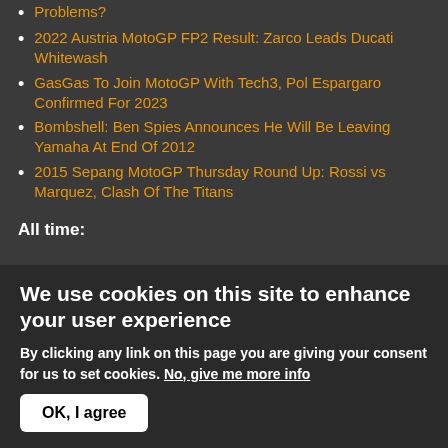Problems?
2022 Austria MotoGP FP2 Result: Zarco Leads Ducati Whitewash
GasGas To Join MotoGP With Tech3, Pol Espargaro Confirmed For 2023
Bombshell: Ben Spies Announces He Will Be Leaving Yamaha At End Of 2012
2015 Sepang MotoGP Thursday Round Up: Rossi vs Marquez, Clash Of The Titans
All time:
We use cookies on this site to enhance your user experience
By clicking any link on this page you are giving your consent for us to set cookies. No, give me more info
OK, I agree